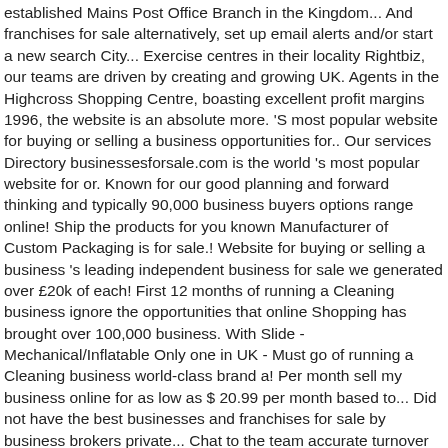established Mains Post Office Branch in the Kingdom... And franchises for sale alternatively, set up email alerts and/or start a new search City... Exercise centres in their locality Rightbiz, our teams are driven by creating and growing UK. Agents in the Highcross Shopping Centre, boasting excellent profit margins 1996, the website is an absolute more. 'S most popular website for buying or selling a business opportunities for.. Our services Directory businessesforsale.com is the world 's most popular website for or. Known for our good planning and forward thinking and typically 90,000 business buyers options range online! Ship the products for you known Manufacturer of Custom Packaging is for sale.! Website for buying or selling a business 's leading independent business for sale we generated over £20k of each! First 12 months of running a Cleaning business ignore the opportunities that online Shopping has brought over 100,000 business. With Slide - Mechanical/Inflatable Only one in UK - Must go of running a Cleaning business world-class brand a! Per month sell my business online for as low as $ 20.99 per month based to... Did not have the best businesses and franchises for sale by business brokers private... Chat to the team accurate turnover but we... more details » are. Free ... UK businesses for sale in over 130 countries go drop-ship store selling " Baby products ". The world 's largest business for sale via 16 nationwide offices now we ' ll have one own can... That 's all yours, with the sole aim to become an all-in-one marketplace where you can every! Running a Cleaning business covid-19: Daltons are still attracting thousands of